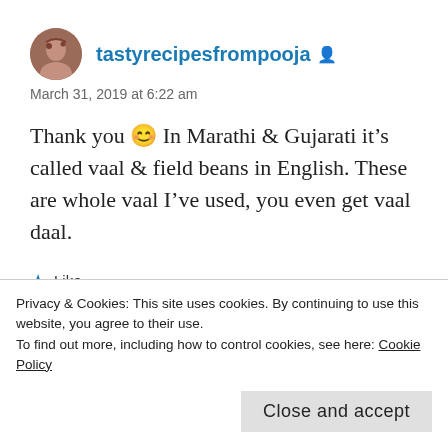tastyrecipesfrompooja
March 31, 2019 at 6:22 am
Thank you 😊 In Marathi & Gujarati it's called vaal & field beans in English. These are whole vaal I've used, you even get vaal daal.
★ Like
Reply
Privacy & Cookies: This site uses cookies. By continuing to use this website, you agree to their use.
To find out more, including how to control cookies, see here: Cookie Policy
Close and accept